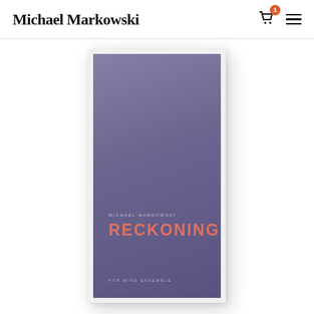Michael Markowski
[Figure (photo): Book cover for 'Reckoning' by Michael Markowski, for wind ensemble. Cover features a purple/violet gradient background with author name in small caps and title in large coral/salmon uppercase letters, with subtitle 'For Wind Ensemble' at bottom. The book is shown in a white frame with soft shadow on a white background.]